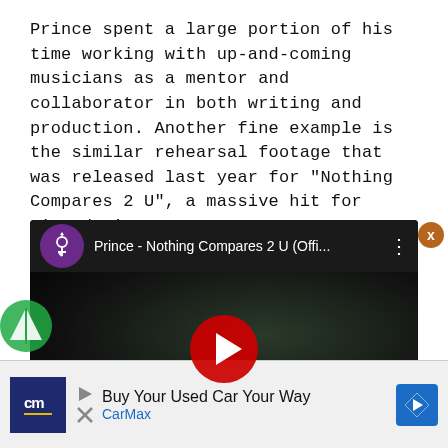Prince spent a large portion of his time working with up-and-coming musicians as a mentor and collaborator in both writing and production. Another fine example is the similar rehearsal footage that was released last year for "Nothing Compares 2 U", a massive hit for Sinead O'Connor.
[Figure (screenshot): YouTube video embed showing Prince - Nothing Compares 2 U (Offi... with purple circular logo icon, video title, three-dot menu, and dark video thumbnail with red play button]
[Figure (screenshot): CarMax advertisement banner at bottom of page showing cm logo, 'Buy Your Used Car Your Way' text, CarMax brand name in blue, and blue navigation arrow icon]